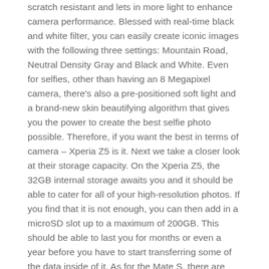scratch resistant and lets in more light to enhance camera performance. Blessed with real-time black and white filter, you can easily create iconic images with the following three settings: Mountain Road, Neutral Density Gray and Black and White. Even for selfies, other than having an 8 Megapixel camera, there's also a pre-positioned soft light and a brand-new skin beautifying algorithm that gives you the power to create the best selfie photo possible. Therefore, if you want the best in terms of camera – Xperia Z5 is it. Next we take a closer look at their storage capacity. On the Xperia Z5, the 32GB internal storage awaits you and it should be able to cater for all of your high-resolution photos. If you find that it is not enough, you can then add in a microSD slot up to a maximum of 200GB. This should be able to last you for months or even a year before you have to start transferring some of the data inside of it. As for the Mate S, there are three options for you to choose from, 32GB, 64GB or 128GB. You can then expand it further with a microSD slot up to a maximum of 128GB – at the